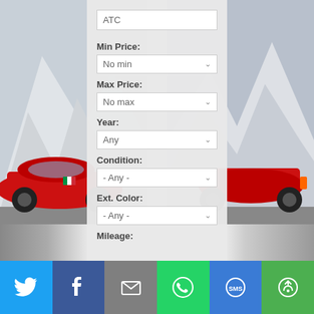[Figure (screenshot): Car search form UI with a red Ferrari sports car on the left and right sides against a mountain background. Center panel shows search filter fields.]
ATC
Min Price:
No min
Max Price:
No max
Year:
Any
Condition:
- Any -
Ext. Color:
- Any -
Mileage:
[Figure (infographic): Social share bar with Twitter, Facebook, Email, WhatsApp, SMS, and Share icons]